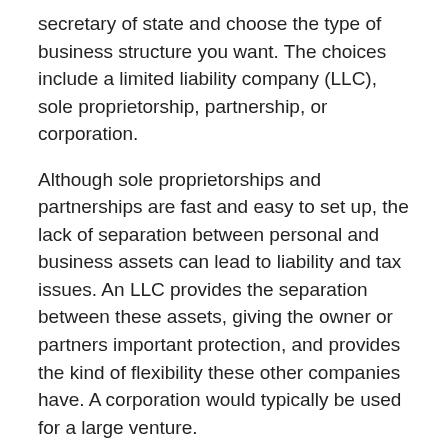secretary of state and choose the type of business structure you want. The choices include a limited liability company (LLC), sole proprietorship, partnership, or corporation.
Although sole proprietorships and partnerships are fast and easy to set up, the lack of separation between personal and business assets can lead to liability and tax issues. An LLC provides the separation between these assets, giving the owner or partners important protection, and provides the kind of flexibility these other companies have. A corporation would typically be used for a large venture.
For federal tax identification purposes, you'll need to apply for a free employee identification number (EIN) from the Internal Revenue Services (IRS) website and may need to get a state tax ID, as well.
You should also set up a business bank account and business credit card. These will help keep your personal and business accounts separate, simplifying your tax...